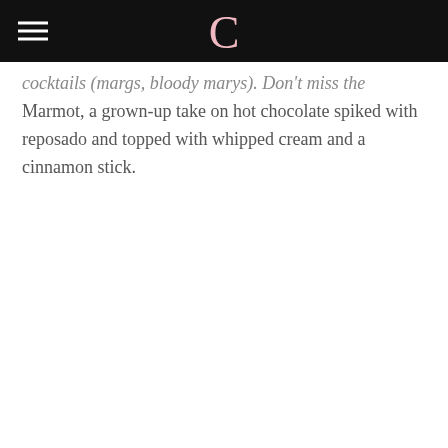C
cocktails (margs, bloody marys). Don't miss the Marmot, a grown-up take on hot chocolate spiked with reposado and topped with whipped cream and a cinnamon stick.